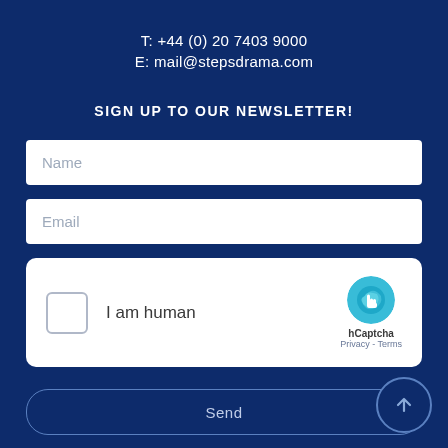T: +44 (0) 20 7403 9000
E: mail@stepsdrama.com
SIGN UP TO OUR NEWSLETTER!
Name
Email
[Figure (screenshot): hCaptcha widget with checkbox labeled 'I am human' and hCaptcha logo with Privacy and Terms links]
Send